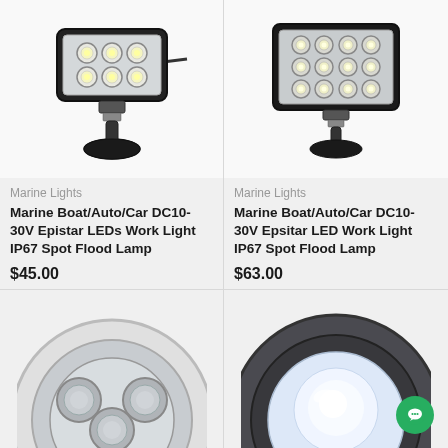[Figure (photo): LED work light with 6 LEDs in rectangular housing on magnetic base - Marine Boat/Auto/Car light]
Marine Lights
Marine Boat/Auto/Car DC10-30V Epistar LEDs Work Light IP67 Spot Flood Lamp
$45.00
[Figure (photo): LED work light with 12 LEDs in rectangular housing on magnetic base - Marine Boat/Auto/Car light]
Marine Lights
Marine Boat/Auto/Car DC10-30V Epsitar LED Work Light IP67 Spot Flood Lamp
$63.00
[Figure (photo): Round LED light with 3 LEDs visible, partial crop at bottom of page]
[Figure (photo): Round LED spotlight/fog light, partial crop at bottom right of page]